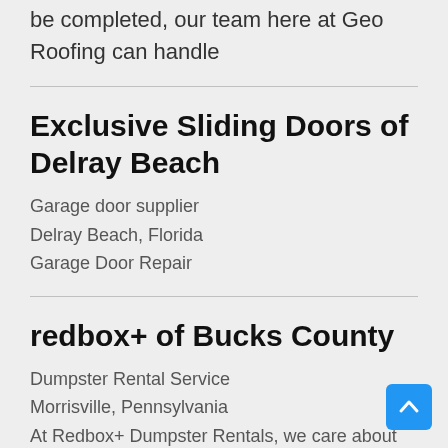be completed, our team here at Geo Roofing can handle
Exclusive Sliding Doors of Delray Beach
Garage door supplier
Delray Beach, Florida
Garage Door Repair
redbox+ of Bucks County
Dumpster Rental Service
Morrisville, Pennsylvania
At Redbox+ Dumpster Rentals, we care about our customers.